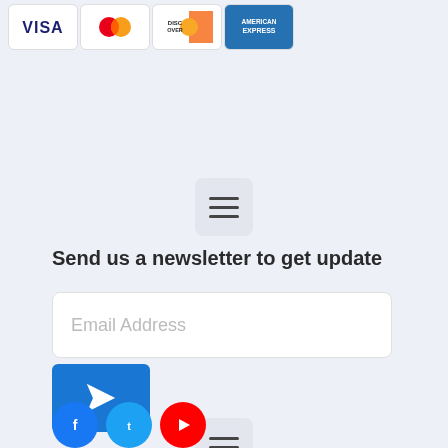[Figure (illustration): Credit card logos row: Visa, MasterCard, Discover, American Express]
[Figure (other): Hamburger menu icon button (three horizontal bars) on light grey rounded square background]
[Figure (other): Hamburger menu icon button (three horizontal bars) on light grey rounded square background]
Send us a newsletter to get update
[Figure (other): Email input field with placeholder text 'Email Address']
[Figure (other): Blue send/submit button with white paper-plane icon]
[Figure (other): Partial row of social media icons: Facebook (blue circle), Twitter (blue circle), YouTube (red circle)]